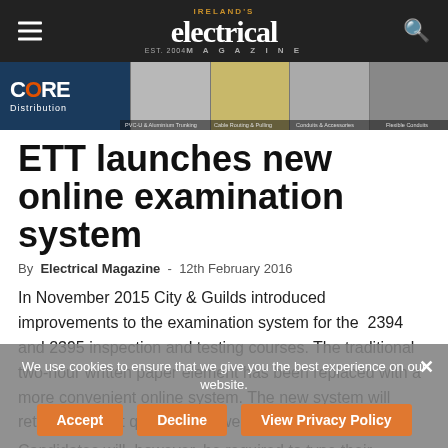IRELAND'S electrical MAGAZINE EST. 2004
[Figure (illustration): CORE Distribution banner advertisement with product images: PVC-U & Aluminium Trunking, Cable Routing & Pulling, Conduits & Accessories, Flexible Conduits]
ETT launches new online examination system
By Electrical Magazine - 12th February 2016
In November 2015 City & Guilds introduced improvements to the examination system for the 2394 and 2395 inspection and testing courses. The traditional two-hour written paper element has been replaced with a more convenient online system. The new system will retain the short question/answer format.
Candidates will, however, be required to type their
We use cookies to ensure that we give you the best experience on our website.